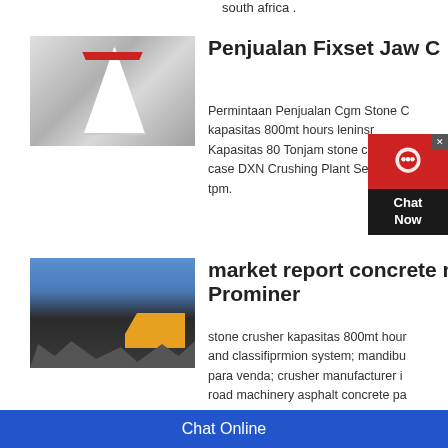south africa .
[Figure (photo): Industrial cone crusher machine, white color with red band, in a factory setting]
Penjualan Fixset Jaw C
Permintaan Penjualan Cgm Stone C kapasitas 800mt hours leninsr Kapasitas 80 Tonjam stone cr case DXN Crushing Plant Se tpm.
[Figure (photo): Construction site with excavator and rubble/crushed concrete]
market report concrete m Prominer
stone crusher kapasitas 800mt hour and classifiprmion system; mandibu para venda; crusher manufacturer i road machinery asphalt concrete pa sas 4000; pictures on road crushesr
Chat Online